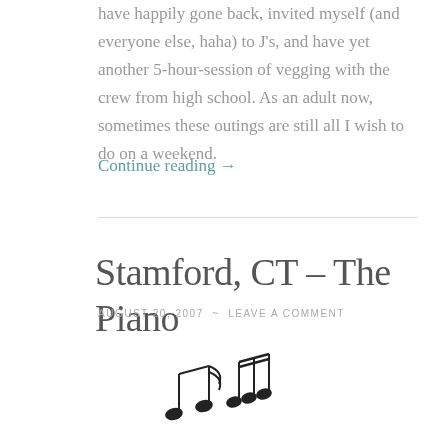have happily gone back, invited myself (and everyone else, haha) to J's, and have yet another 5-hour-session of vegging with the crew from high school. As an adult now, sometimes these outings are still all I wish to do on a weekend.
Continue reading →
Stamford, CT – The Piano
AUGUST 20, 2007  ~  LEAVE A COMMENT
[Figure (illustration): Musical notes illustration – small black music note symbols arranged decoratively]